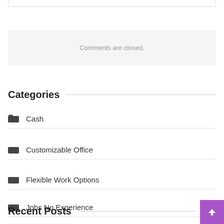Comments are closed.
Categories
Cash
Customizable Office
Flexible Work Options
Jobs No Experience
Virtual Assistants
Recent Posts